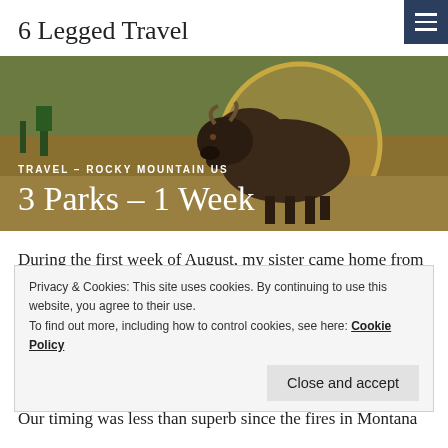6 Legged Travel
[Figure (illustration): Painted bison illustration inside a circular frame with a landscape background, used as a hero banner image]
TRAVEL – ROCKY MOUNTAIN US
3 Parks – 1 Week
During the first week of August, my sister came home from Denver and brought a friend from Australia with her. We started our journey in Cody, WY and from there planned an epic road trip through Yellowstone to the Grand Tetons and eventually on to Glacier Park. While it would be...
Privacy & Cookies: This site uses cookies. By continuing to use this website, you agree to their use.
To find out more, including how to control cookies, see here: Cookie Policy
Our timing was less than superb since the fires in Montana